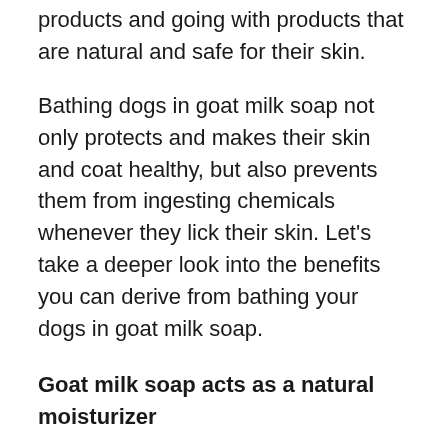products and going with products that are natural and safe for their skin.
Bathing dogs in goat milk soap not only protects and makes their skin and coat healthy, but also prevents them from ingesting chemicals whenever they lick their skin. Let’s take a deeper look into the benefits you can derive from bathing your dogs in goat milk soap.
Goat milk soap acts as a natural moisturizer
The milk present in goat milk soap contains fats that help reduce skin dryness. It contains the unsaturated fatty acids: oleic, linoleic, caprylic, capric, and caproic acids, which nourish the skin by locking in moisture. This keeps the skin of your dog hydrated and gives a moisturizing coat. The vitamins and...